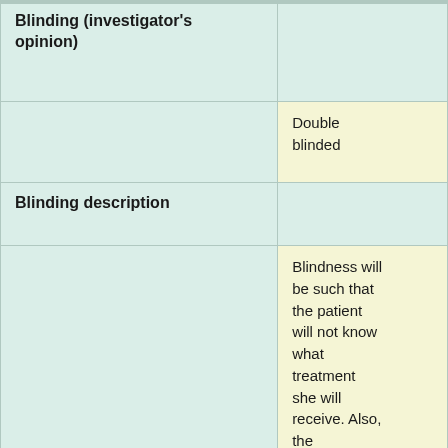| Field | Value |
| --- | --- |
| Blinding (investigator's opinion) | Double blinded |
| Blinding description | Blindness will be such that the patient will not know what treatment she will receive. Also, the researcher who records the results will not be aware of the type of |